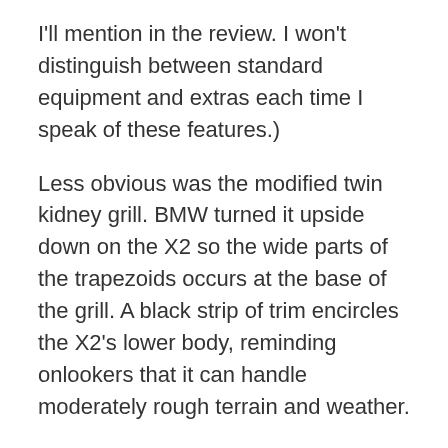I'll mention in the review. I won't distinguish between standard equipment and extras each time I speak of these features.)
Less obvious was the modified twin kidney grill. BMW turned it upside down on the X2 so the wide parts of the trapezoids occurs at the base of the grill. A black strip of trim encircles the X2's lower body, reminding onlookers that it can handle moderately rough terrain and weather.
The body shape benefits from a shorter wheelbase and stance than those of the X1. While attractive, the proportions and short overhangs didn't do much to improve u-turn performance on tight city